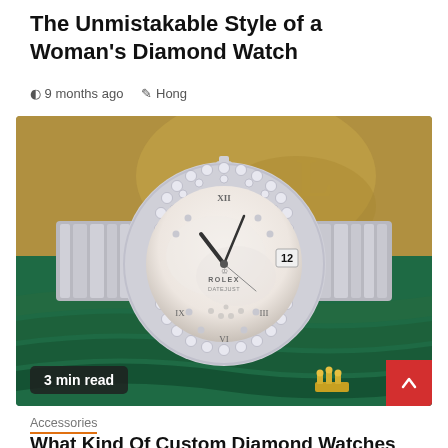The Unmistakable Style of a Woman's Diamond Watch
9 months ago   Hong
[Figure (photo): A Rolex diamond watch with a mother-of-pearl dial and diamond bezel, displayed on a green Rolex box. A gold crown ornament is visible at the bottom right of the image. The badge reads '3 min read'.]
3 min read
Accessories
What Kind Of Custom Diamond Watches Does Foxx Wear?